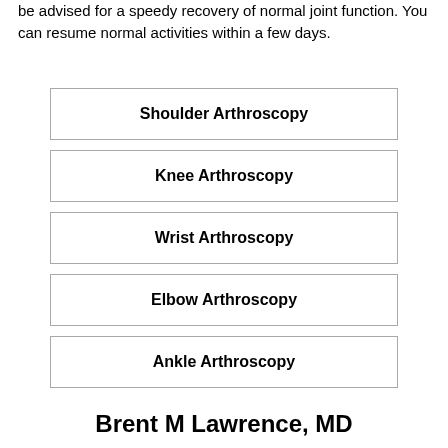be advised for a speedy recovery of normal joint function. You can resume normal activities within a few days.
Shoulder Arthroscopy
Knee Arthroscopy
Wrist Arthroscopy
Elbow Arthroscopy
Ankle Arthroscopy
Brent M Lawrence, MD